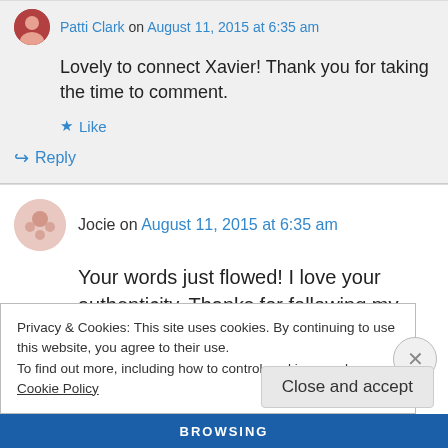Patti Clark on August 11, 2015 at 6:35 am
Lovely to connect Xavier! Thank you for taking the time to comment.
Like
Reply
Jocie on August 11, 2015 at 6:35 am
Your words just flowed! I love your authenticity. Thanks for following my blog. I know there is
Privacy & Cookies: This site uses cookies. By continuing to use this website, you agree to their use.
To find out more, including how to control cookies, see here: Cookie Policy
Close and accept